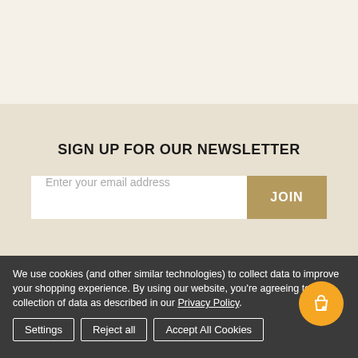SIGN UP FOR OUR NEWSLETTER
Enter your email address
JOIN
We use cookies (and other similar technologies) to collect data to improve your shopping experience. By using our website, you're agreeing to the collection of data as described in our Privacy Policy.
Settings
Reject all
Accept All Cookies